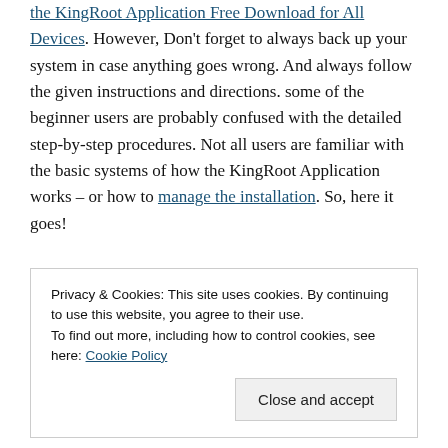the KingRoot Application Free Download for All Devices. However, Don't forget to always back up your system in case anything goes wrong. And always follow the given instructions and directions. some of the beginner users are probably confused with the detailed step-by-step procedures. Not all users are familiar with the basic systems of how the KingRoot Application works – or how to manage the installation. So, here it goes!
Privacy & Cookies: This site uses cookies. By continuing to use this website, you agree to their use. To find out more, including how to control cookies, see here: Cookie Policy